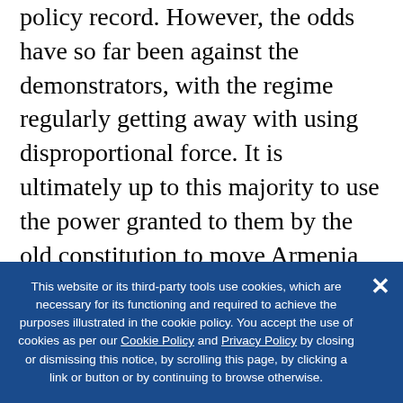policy record. However, the odds have so far been against the demonstrators, with the regime regularly getting away with using disproportional force. It is ultimately up to this majority to use the power granted to them by the old constitution to move Armenia away from this disastrous equilibrium characterized by mass migration, widespread poverty, and geopolitical irrelevance. While the Armenian diaspora and Armenia’s Western partners also have a role to play, the window is closing and the country may be approaching a point of no return.
This website or its third-party tools use cookies, which are necessary for its functioning and required to achieve the purposes illustrated in the cookie policy. You accept the use of cookies as per our Cookie Policy and Privacy Policy by closing or dismissing this notice, by scrolling this page, by clicking a link or button or by continuing to browse otherwise.